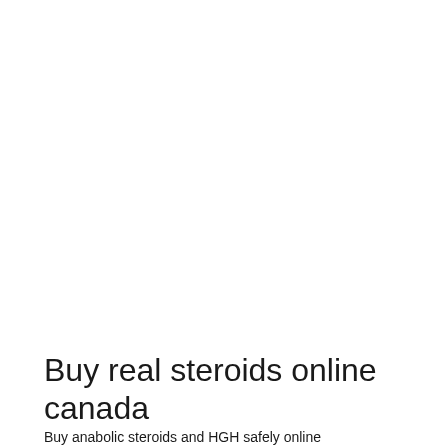Buy real steroids online canada
Buy anabolic steroids and HGH safely online